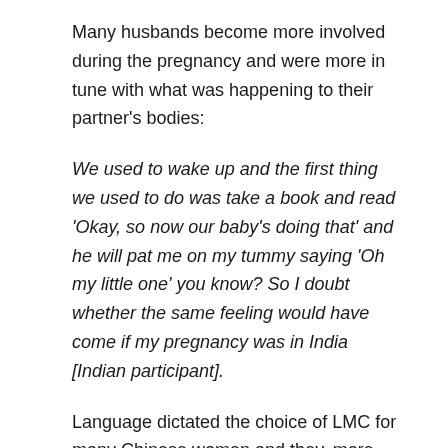Many husbands become more involved during the pregnancy and were more in tune with what was happening to their partner's bodies:
We used to wake up and the first thing we used to do was take a book and read 'Okay, so now our baby's doing that' and he will pat me on my tummy saying 'Oh my little one' you know? So I doubt whether the same feeling would have come if my pregnancy was in India [Indian participant].
Language dictated the choice of LMC for many Chinese women and they, more than any other cohort, relied on their networks to find a care provider with Chinese newspapers also being a useful knowledge resource.